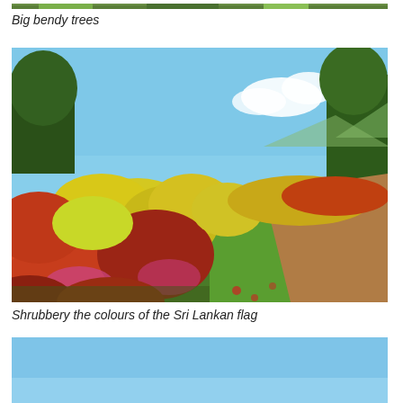[Figure (photo): Partial view of big bendy trees, green foliage, cropped at top of page]
Big bendy trees
[Figure (photo): Colourful shrubbery with red, yellow and pink leaves along a garden path, with green grass and trees in background under blue sky - described as colours of the Sri Lankan flag]
Shrubbery the colours of the Sri Lankan flag
[Figure (photo): Partial view of blue sky, bottom of page cropped]